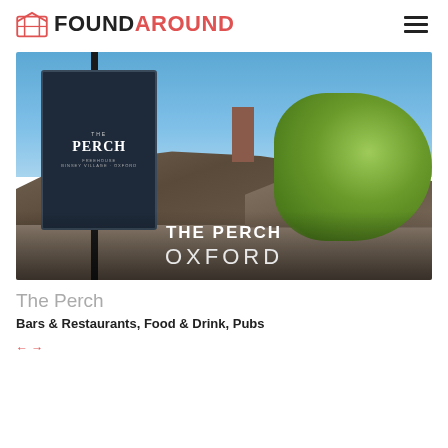FOUNDAROUND
[Figure (photo): Exterior photo of The Perch pub in Oxford showing a decorative iron pub sign reading 'The Perch Freehouse', a thatched roof, brick chimney, stone walls, and a willow tree against a blue sky. Overlay text reads 'THE PERCH OXFORD'.]
The Perch
Bars & Restaurants, Food & Drink, Pubs